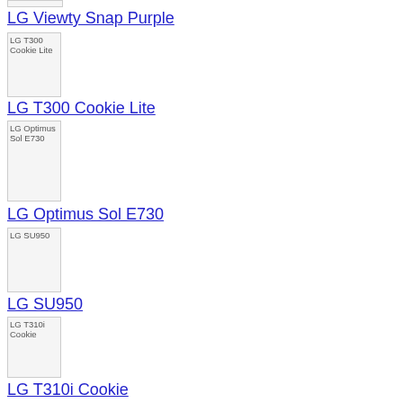[Figure (other): Partial image placeholder at top (cropped)]
LG Viewty Snap Purple
[Figure (other): Image placeholder for LG T300 Cookie Lite]
LG T300 Cookie Lite
[Figure (other): Image placeholder for LG Optimus Sol E730]
LG Optimus Sol E730
[Figure (other): Image placeholder for LG SU950]
LG SU950
[Figure (other): Image placeholder for LG T310i Cookie]
LG T310i Cookie
[Figure (other): Partial image placeholder at bottom for LG Apex (cropped)]